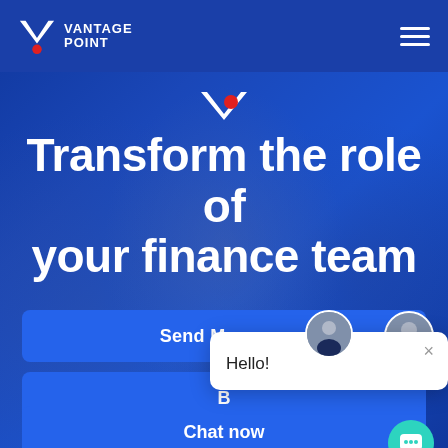VANTAGE POINT
Transform the role of your finance team
[Figure (screenshot): Send Message button with avatar bubble and Hello! chat popup with close button]
[Figure (screenshot): Book demo button (partially obscured by chat popup)]
[Figure (screenshot): Chat now button with teal circular chat icon]